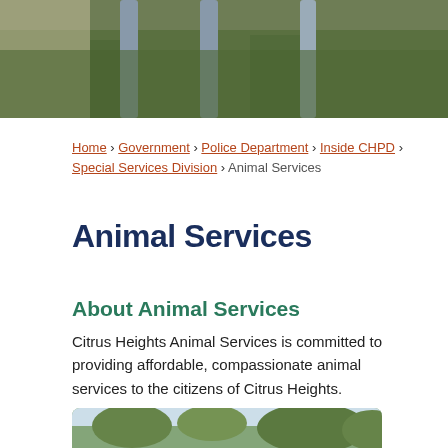[Figure (photo): Outdoor photo showing grass and vertical poles/posts, cropped at top of page]
Home › Government › Police Department › Inside CHPD › Special Services Division › Animal Services
Animal Services
About Animal Services
Citrus Heights Animal Services is committed to providing affordable, compassionate animal services to the citizens of Citrus Heights.
[Figure (photo): Outdoor photo with trees and sky, partially visible at bottom of page]